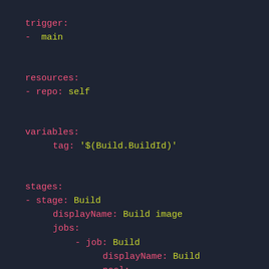trigger:
- main

resources:
- repo: self

variables:
  tag: '$(Build.BuildId)'

stages:
- stage: Build
  displayName: Build image
  jobs:
  - job: Build
    displayName: Build
    pool: